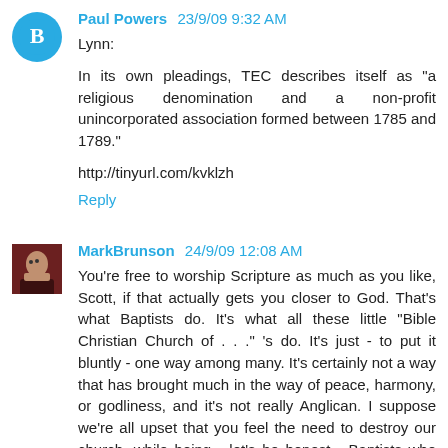Paul Powers 23/9/09 9:32 AM
Lynn:
In its own pleadings, TEC describes itself as "a religious denomination and a non-profit unincorporated association formed between 1785 and 1789."
http://tinyurl.com/kvklzh
Reply
MarkBrunson 24/9/09 12:08 AM
You're free to worship Scripture as much as you like, Scott, if that actually gets you closer to God. That's what Baptists do. It's what all these little "Bible Christian Church of . . ." 's do. It's just - to put it bluntly - one way among many. It's certainly not a way that has brought much in the way of peace, harmony, or godliness, and it's not really Anglican. I suppose we're all upset that you feel the need to destroy our church, while being - let's be honest - Baptists who play dress-up.